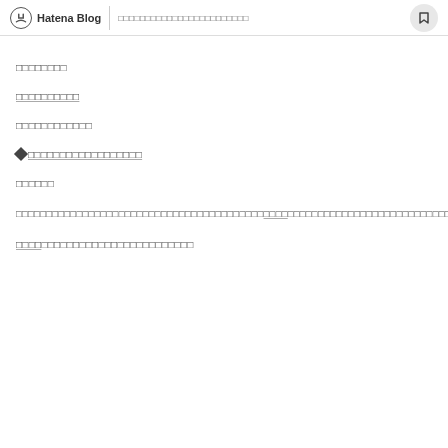Hatena Blog | □□□□□□□□□□□□□□□□□□□□□□□□
□□□□□□□□
□□□□□□□□□□
□□□□□□□□□□□□
◆□□□□□□□□□□□□□□□□□□
□□□□□□
□□□□□□□□□□□□□□□□□□□□□□□□□□□□□□□□□□□□□□□□□□□□□□□□□□□□□□□□□□□□□□□□□□□□□□□□□□□□□□□
□□□□□□□□□□□□□□□□□□□□□□□□□□□□